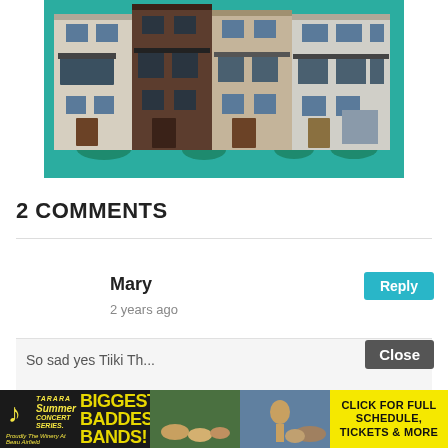[Figure (illustration): Rendering of modern townhouse buildings in a row with teal/green background, multiple stories, mixed brown and cream/beige facades]
2 COMMENTS
Mary
2 years ago
Reply
[Figure (photo): Advertisement banner: Tarara Summer Concert Series - Biggest Baddest Bands! with photos of concert crowd and saxophone player, and yellow panel saying Click for Full Schedule, Tickets & More]
Close